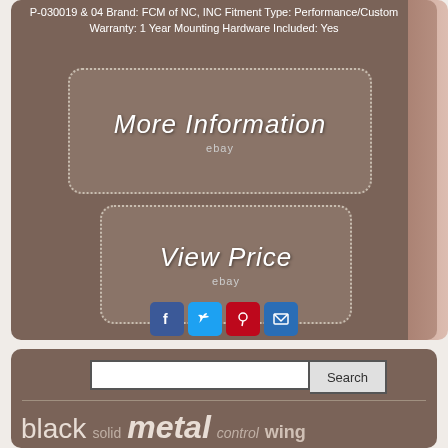P-030019 & 04 Brand: FCM of NC, INC Fitment Type: Performance/Custom Warranty: 1 Year Mounting Hardware Included: Yes
[Figure (screenshot): More Information button with dotted border on brown background, with eBay label]
[Figure (screenshot): View Price button with dotted border on brown background, with eBay label]
[Figure (infographic): Social share icons: Facebook, Twitter, Pinterest, Email]
[Figure (screenshot): Search bar with text input and Search button]
black   solid   metal   control   wing   size